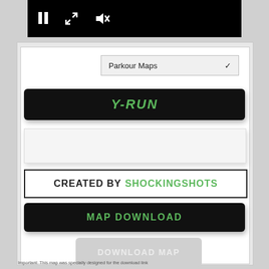[Figure (screenshot): Video player control bar with pause, expand, and mute icons on black background]
[Figure (screenshot): UI panel with Parkour Maps dropdown, Y-RUN title button, preview box, CREATED BY SHOCKINGSHOTS label, MAP DOWNLOAD button, and DOWNLOAD MAP button]
Important: This map was specially designed for the download link